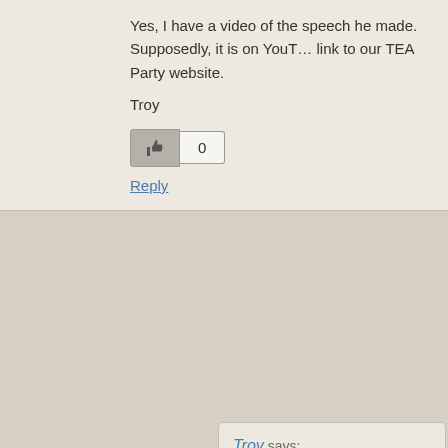Yes, I have a video of the speech he made. Supposedly, it is on YouTube. I will post a link to our TEA Party website.
Troy
Reply
Troy says:
July 19, 2012 at 12:52 pm
http://hillcountyteaparty.org/
Reply
â—„Daveâ–º says:
July 20, 2012 at 1:32 am
Cool website, Troy. I was unable to find any link to the video. I also did a search on YouTube. Again, I couldn't find your organization.